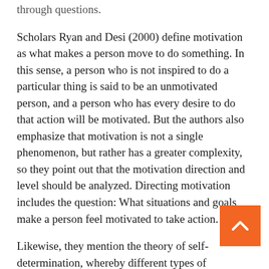through questions.
Scholars Ryan and Desi (2000) define motivation as what makes a person move to do something. In this sense, a person who is not inspired to do a particular thing is said to be an unmotivated person, and a person who has every desire to do that action will be motivated. But the authors also emphasize that motivation is not a single phenomenon, but rather has a greater complexity, so they point out that the motivation direction and level should be analyzed. Directing motivation includes the question: What situations and goals make a person feel motivated to take action.
Likewise, they mention the theory of self-determination, whereby different types of motivation are established according to the causes or goals that lead to action. One such difference is